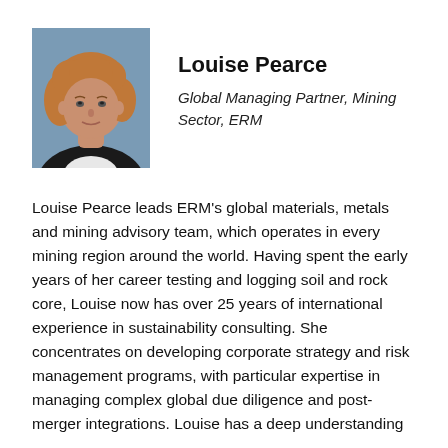[Figure (photo): Headshot photo of Louise Pearce, a woman with curly reddish-blonde hair wearing a dark blazer over a white top, against a blue-grey background.]
Louise Pearce
Global Managing Partner, Mining Sector, ERM
Louise Pearce leads ERM’s global materials, metals and mining advisory team, which operates in every mining region around the world. Having spent the early years of her career testing and logging soil and rock core, Louise now has over 25 years of international experience in sustainability consulting. She concentrates on developing corporate strategy and risk management programs, with particular expertise in managing complex global due diligence and post-merger integrations. Louise has a deep understanding